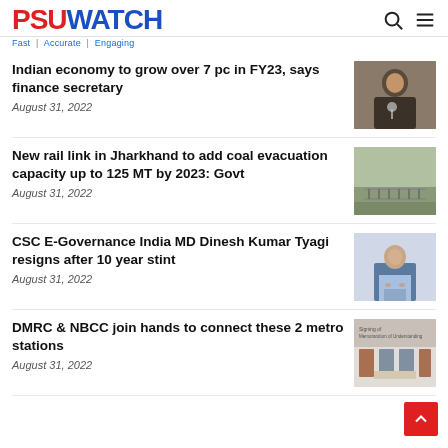PSU WATCH — Fast | Accurate | Engaging
Indian economy to grow over 7 pc in FY23, says finance secretary
August 31, 2022
[Figure (photo): Man speaking into microphone]
New rail link in Jharkhand to add coal evacuation capacity up to 125 MT by 2023: Govt
August 31, 2022
[Figure (photo): Railway tracks aerial view]
CSC E-Governance India MD Dinesh Kumar Tyagi resigns after 10 year stint
August 31, 2022
[Figure (photo): Man in light blue shirt seated]
DMRC & NBCC join hands to connect these 2 metro stations
August 31, 2022
[Figure (photo): People signing MOU document]